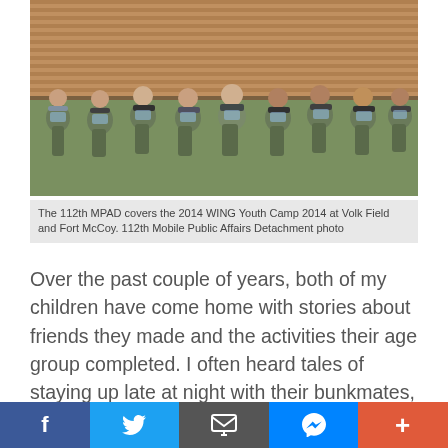[Figure (photo): Group of soldiers in camouflage uniforms and light blue t-shirts crouching in a row, holding cameras and video equipment, in front of a brick building with green grass.]
The 112th MPAD covers the 2014 WING Youth Camp 2014 at Volk Field and Fort McCoy. 112th Mobile Public Affairs Detachment photo
Over the past couple of years, both of my children have come home with stories about friends they made and the activities their age group completed. I often heard tales of staying up late at night with their bunkmates, practicing military drill and ceremony, ice cream socials, and tug-of-war competitions. The kids attending overcame challenges, built resilience, grew stronger, and bonded – together.